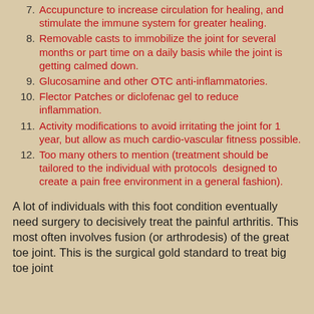7. Accupuncture to increase circulation for healing, and stimulate the immune system for greater healing.
8. Removable casts to immobilize the joint for several months or part time on a daily basis while the joint is getting calmed down.
9. Glucosamine and other OTC anti-inflammatories.
10. Flector Patches or diclofenac gel to reduce inflammation.
11. Activity modifications to avoid irritating the joint for 1 year, but allow as much cardio-vascular fitness possible.
12. Too many others to mention (treatment should be tailored to the individual with protocols  designed to create a pain free environment in a general fashion).
A lot of individuals with this foot condition eventually need surgery to decisively treat the painful arthritis. This most often involves fusion (or arthrodesis) of the great toe joint. This is the surgical gold standard to treat big toe joint arthritis in individuals who wish to maintain active lifestyles.